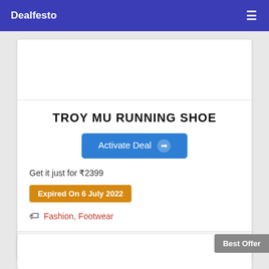Dealfesto
TROY MU RUNNING SHOE
Activate Deal →
Get it just for ₹2399
Expired On 6 July 2022
Fashion, Footwear
Verified On 4 July 2022
0
Best Offer